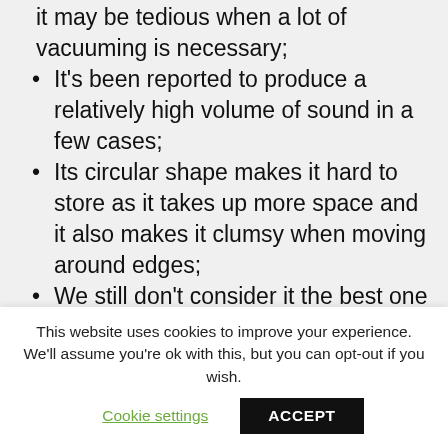It may be tedious when a lot of vacuuming is necessary;
It's been reported to produce a relatively high volume of sound in a few cases;
Its circular shape makes it hard to store as it takes up more space and it also makes it clumsy when moving around edges;
We still don't consider it the best one when it comes to cleaning a larger area;
This website uses cookies to improve your experience. We'll assume you're ok with this, but you can opt-out if you wish.
Cookie settings | ACCEPT